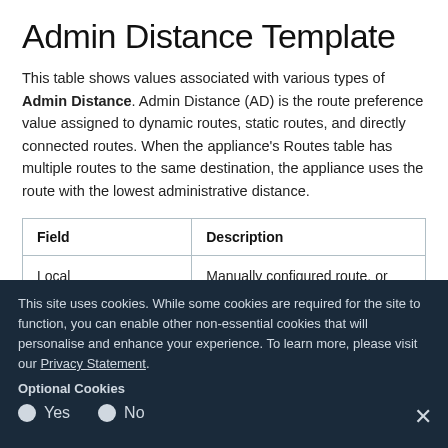Admin Distance Template
This table shows values associated with various types of Admin Distance. Admin Distance (AD) is the route preference value assigned to dynamic routes, static routes, and directly connected routes. When the appliance's Routes table has multiple routes to the same destination, the appliance uses the route with the lowest administrative distance.
| Field | Description |
| --- | --- |
| Local | Manually configured route, or one learned from locally-connected subnets. |
This site uses cookies. While some cookies are required for the site to function, you can enable other non-essential cookies that will personalise and enhance your experience. To learn more, please visit our Privacy Statement.
Optional Cookies
Yes   No